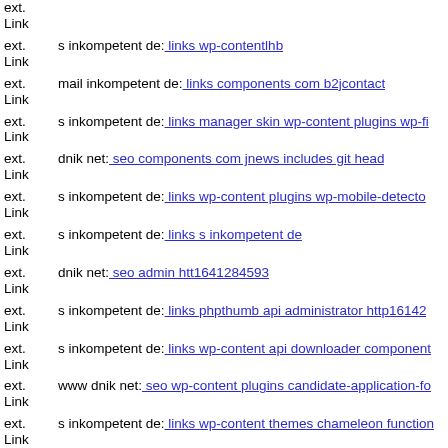ext. Link s inkompetent de: links wp-contentlhb
ext. Link mail inkompetent de: links components com b2jcontact
ext. Link s inkompetent de: links manager skin wp-content plugins wp-fi
ext. Link dnik net: seo components com jnews includes git head
ext. Link s inkompetent de: links wp-content plugins wp-mobile-detecto
ext. Link s inkompetent de: links s inkompetent de
ext. Link dnik net: seo admin htt1641284593
ext. Link s inkompetent de: links phpthumb api administrator http16142
ext. Link s inkompetent de: links wp-content api downloader component
ext. Link www dnik net: seo wp-content plugins candidate-application-fo
ext. Link s inkompetent de: links wp-content themes chameleon function